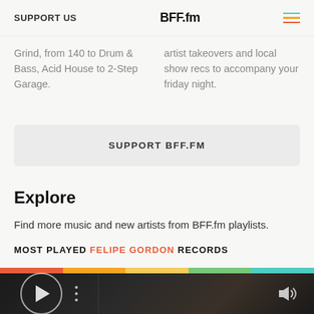SUPPORT US | BFF.fm
...Grind, from 140 to Drum & Bass, Acid House to 2-Step Garage.
...artist takeovers and local show recs to accompany your friday night.
SUPPORT BFF.FM
Explore
Find more music and new artists from BFF.fm playlists.
MOST PLAYED FELIPE GORDON RECORDS
[Figure (screenshot): Media player bar with dark background, play button circle, three dots menu, and volume icon on the right]